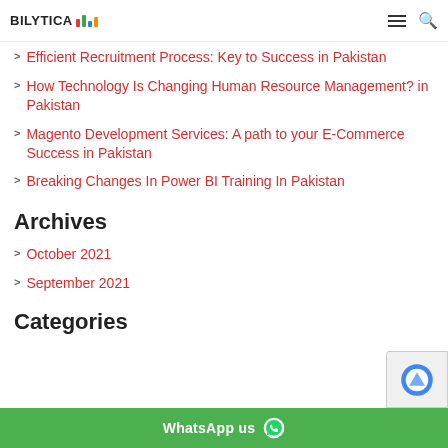BILYTICA [logo with bar chart icon] | hamburger menu | search icon
Efficient Recruitment Process: Key to Success in Pakistan
How Technology Is Changing Human Resource Management? in Pakistan
Magento Development Services: A path to your E-Commerce Success in Pakistan
Breaking Changes In Power BI Training In Pakistan
Archives
October 2021
September 2021
Categories